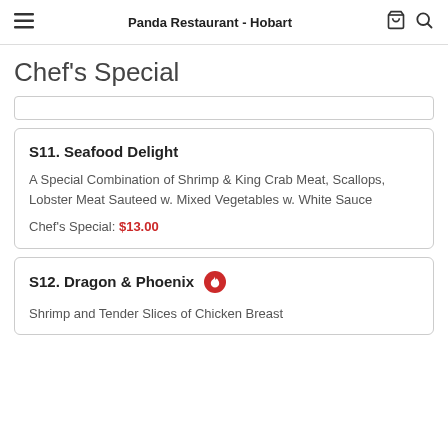Panda Restaurant - Hobart
Chef's Special
S11. Seafood Delight
A Special Combination of Shrimp & King Crab Meat, Scallops, Lobster Meat Sauteed w. Mixed Vegetables w. White Sauce
Chef's Special: $13.00
S12. Dragon & Phoenix
Shrimp and Tender Slices of Chicken Breast...